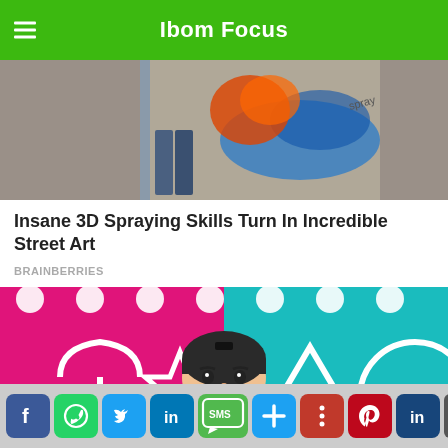Ibom Focus
[Figure (photo): Street art photo showing people and colorful 3D spray paint art on a wall]
Insane 3D Spraying Skills Turn In Incredible Street Art
BRAINBERRIES
[Figure (photo): Squid Game doll figure in front of pink and teal background with game symbols (umbrella, star, triangle, circle)]
Social share buttons: Facebook, WhatsApp, Twitter, LinkedIn, SMS, More, Pinterest, LinkedIn